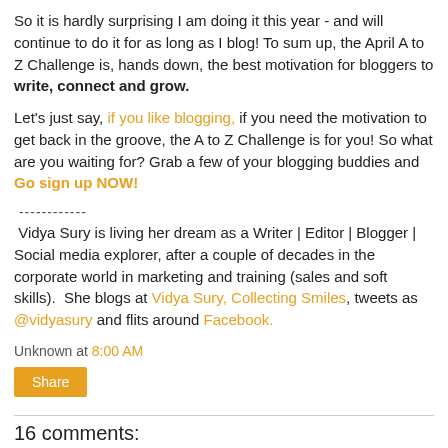So it is hardly surprising I am doing it this year - and will continue to do it for as long as I blog! To sum up, the April A to Z Challenge is, hands down, the best motivation for bloggers to write, connect and grow.
Let's just say, if you like blogging, if you need the motivation to get back in the groove, the A to Z Challenge is for you! So what are you waiting for? Grab a few of your blogging buddies and Go sign up NOW!
------------
Vidya Sury is living her dream as a Writer | Editor | Blogger | Social media explorer, after a couple of decades in the corporate world in marketing and training (sales and soft skills). She blogs at Vidya Sury, Collecting Smiles, tweets as @vidyasury and flits around Facebook.
Unknown at 8:00 AM
Share
16 comments: